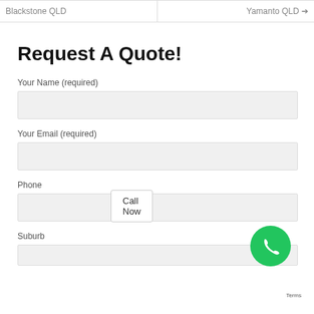Blackstone QLD | Yamanto QLD →
Request A Quote!
Your Name (required)
Your Email (required)
Phone
Suburb
Call Now